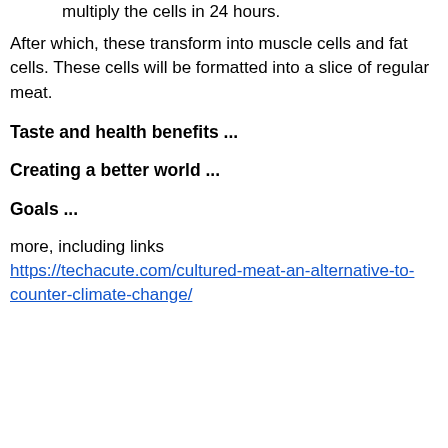multiply the cells in 24 hours.
After which, these transform into muscle cells and fat cells. These cells will be formatted into a slice of regular meat.
Taste and health benefits ...
Creating a better world ...
Goals ...
more, including links
https://techacute.com/cultured-meat-an-alternative-to-counter-climate-change/